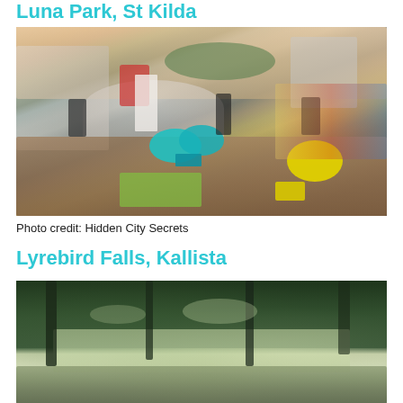Luna Park, St Kilda
[Figure (photo): Rooftop bar/terrace at Luna Park St Kilda with colorful chairs (turquoise and yellow), cushioned seating, white umbrella, people socializing, rollercoaster and amusement park rides visible in background]
Photo credit: Hidden City Secrets
Lyrebird Falls, Kallista
[Figure (photo): Lush green forest scene at Lyrebird Falls, Kallista, showing dense vegetation with trees and foliage]